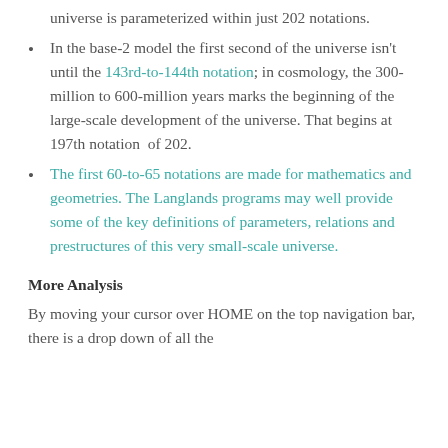universe is parameterized within just 202 notations.
In the base-2 model the first second of the universe isn't until the 143rd-to-144th notation; in cosmology, the 300-million to 600-million years marks the beginning of the large-scale development of the universe. That begins at 197th notation  of 202.
The first 60-to-65 notations are made for mathematics and geometries. The Langlands programs may well provide some of the key definitions of parameters, relations and prestructures of this very small-scale universe.
More Analysis
By moving your cursor over HOME on the top navigation bar, there is a drop down of all the